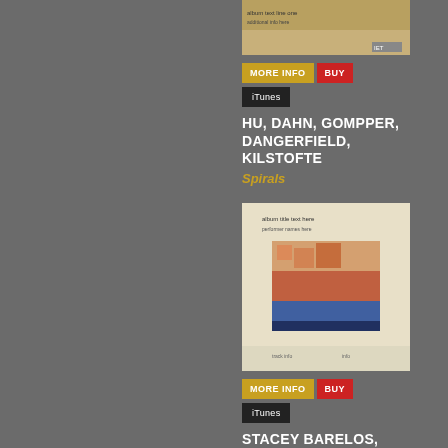[Figure (photo): Album cover for Spirals - small yellowish/brown cover with text]
[Figure (other): MORE INFO and BUY buttons]
iTunes
HU, DAHN, GOMPPER, DANGERFIELD, KILSTOFTE
Spirals
[Figure (photo): Album cover for Midwest American Piano Project - white cover with colorful layered image]
[Figure (other): MORE INFO and BUY buttons]
iTunes
STACEY BARELOS, PIANO
Midwest American Piano Project
[Figure (photo): Album cover - dark background with colorful hexagonal/abstract design, text at top]